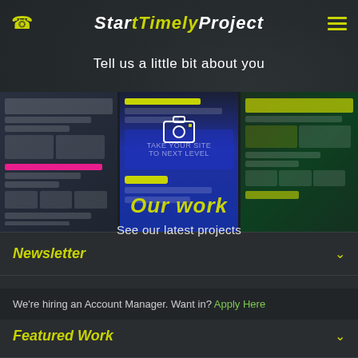Start Timely Project
Tell us a little bit about you
[Figure (screenshot): Three-panel website portfolio preview strip showing various web design mockups]
Our work
See our latest projects
Newsletter
Services
We're hiring an Account Manager. Want in? Apply Here
Featured Work